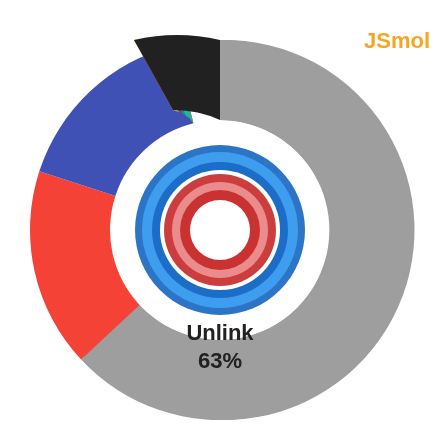JSmol
[Figure (donut-chart): Donut chart showing Unlink 63% as large gray segment, with red, blue, and small multicolor segments. Center shows nested blue and red ring icon with text 'Unlink' and '63%'.]